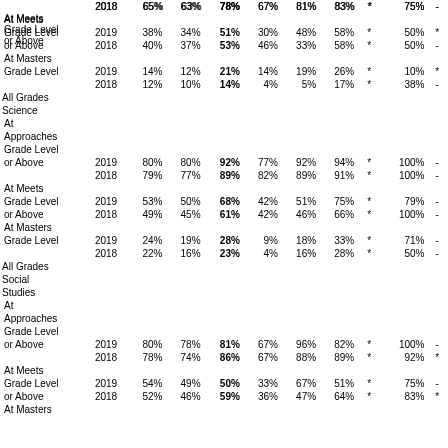|  | Year | Col1 | Col2 | Col3 | Col4 | Col5 | Col6 | Col7 | Col8 | Col9 |
| --- | --- | --- | --- | --- | --- | --- | --- | --- | --- | --- |
|  | 2018 | 65% | 63% | 78% | 67% | 81% | 83% | * | 75% | - |
| At Meets Grade Level or Above | 2019 | 38% | 34% | 51% | 30% | 48% | 58% | * | 50% | * |
|  | 2018 | 40% | 37% | 53% | 46% | 33% | 58% | * | 50% | - |
| At Masters Grade Level | 2019 | 14% | 12% | 21% | 14% | 19% | 26% | * | 10% | * |
|  | 2018 | 12% | 10% | 14% | 4% | 5% | 17% | * | 38% | - |
| All Grades Science |  |  |  |  |  |  |  |  |  |  |
| At Approaches Grade Level or Above | 2019 | 80% | 80% | 92% | 77% | 92% | 94% | * | 100% | - |
|  | 2018 | 79% | 77% | 89% | 82% | 89% | 91% | * | 100% | - |
| At Meets Grade Level or Above | 2019 | 53% | 50% | 68% | 42% | 51% | 75% | * | 79% | - |
|  | 2018 | 49% | 45% | 61% | 42% | 46% | 66% | * | 100% | - |
| At Masters Grade Level | 2019 | 24% | 19% | 28% | 9% | 18% | 33% | * | 71% | - |
|  | 2018 | 22% | 16% | 23% | 4% | 16% | 28% | * | 50% | - |
| All Grades Social Studies |  |  |  |  |  |  |  |  |  |  |
| At Approaches Grade Level or Above | 2019 | 80% | 78% | 81% | 67% | 96% | 82% | * | 100% | - |
|  | 2018 | 78% | 74% | 86% | 67% | 88% | 89% | * | 92% | * |
| At Meets Grade Level or Above | 2019 | 54% | 49% | 50% | 33% | 67% | 51% | * | 75% | - |
|  | 2018 | 52% | 46% | 59% | 36% | 47% | 64% | * | 83% | * |
| At Masters |  |  |  |  |  |  |  |  |  |  |